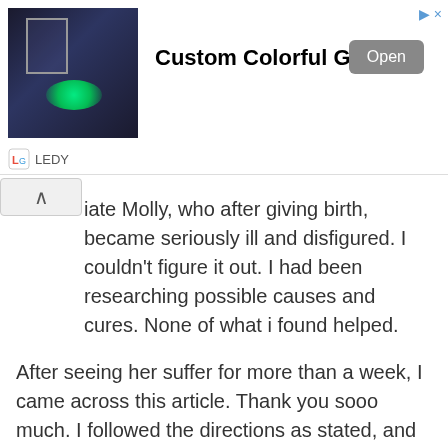[Figure (screenshot): Advertisement banner showing a dark room with green glowing gobo light on floor, with text 'Custom Colorful Gobos' and an 'Open' button. Brand name 'LEDY' shown at bottom left of ad.]
iate Molly, who after giving birth, became seriously ill and disfigured. I couldn't figure it out. I had been researching possible causes and cures. None of what i found helped.
After seeing her suffer for more than a week, I came across this article. Thank you sooo much. I followed the directions as stated, and she went peacefully. No thrashing or anything, just to sleep. I did have a hard time finding the 100% clove oil, but did find it at a GNC.
Again, thank you for your site and helpful information. I'll be back when problems arise, or